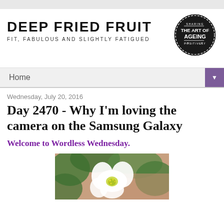[Figure (logo): Deep Fried Fruit blog header with site title, tagline, and a circular badge reading 'Sharing THE ART OF AGEING Positively']
Home
Wednesday, July 20, 2016
Day 2470 - Why I'm loving the camera on the Samsung Galaxy
Welcome to Wordless Wednesday.
[Figure (photo): Close-up photograph of a white flower with green leaves and yellow stamens, with a blurred brick background]